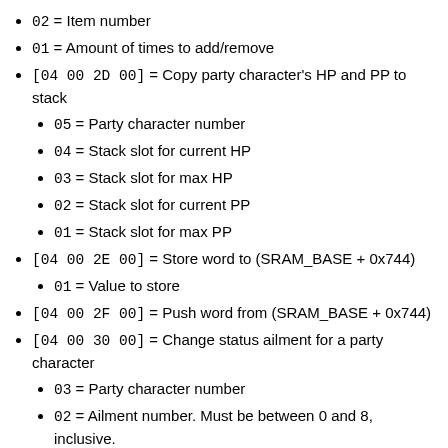02 = Item number
01 = Amount of times to add/remove
[04 00 2D 00] = Copy party character's HP and PP to stack
05 = Party character number
04 = Stack slot for current HP
03 = Stack slot for max HP
02 = Stack slot for current PP
01 = Stack slot for max PP
[04 00 2E 00] = Store word to (SRAM_BASE + 0x744)
01 = Value to store
[04 00 2F 00] = Push word from (SRAM_BASE + 0x744)
[04 00 30 00] = Change status ailment for a party character
03 = Party character number
02 = Ailment number. Must be between 0 and 8, inclusive. The ailment listing for this is a bit odd:
00 = Poison
01 = Numbness
02 = Sleep (glitchy out of battle)
03 = Strange